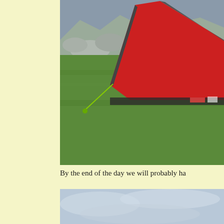[Figure (photo): A red and grey tent pitched on grassy terrain with rocky mountain landscape in the background. The tent has a low profile design with a yellow/green guy rope staked into the ground.]
By the end of the day we will probably ha
[Figure (photo): Partial view of a cloudy sky with light blue-grey tones, appearing to be the top portion of another outdoor photograph.]